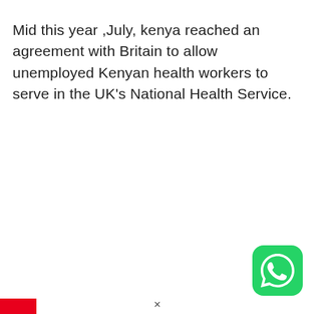Mid this year ,July, kenya reached an agreement with Britain to allow unemployed Kenyan health workers to serve in the UK's National Health Service.
[Figure (logo): WhatsApp app icon — green rounded square with white phone/chat bubble logo]